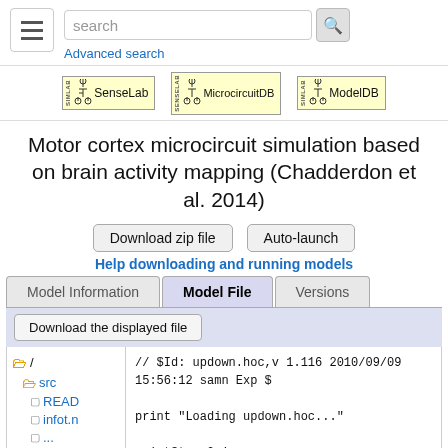search | Advanced search
[Figure (logo): SenseLab, MicrocircuitDB, and ModelDB logos]
Motor cortex microcircuit simulation based on brain activity mapping (Chadderdon et al. 2014)
Download zip file   Auto-launch
Help downloading and running models
Model Information | Model File | Versions
Download the displayed file
/ src README infot.n ...
// $Id: updown.hoc,v 1.116 2010/09/09 15:56:12 samn Exp $

print "Loading updown.hoc..."

printStep=0.1